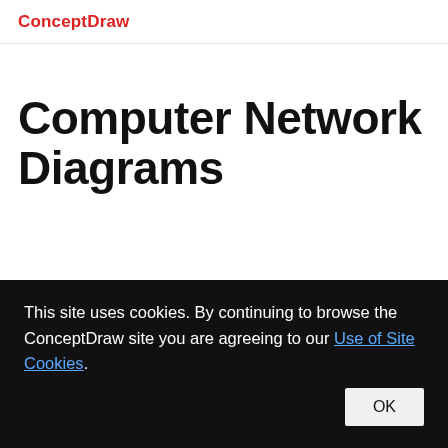ConceptDraw
Computer Network Diagrams
[Figure (screenshot): Partial screenshot of a Computer Network Diagrams page showing a network diagram with firewall and ADSL router icons, with blue text 'Computer Network' visible]
This site uses cookies. By continuing to browse the ConceptDraw site you are agreeing to our Use of Site Cookies.